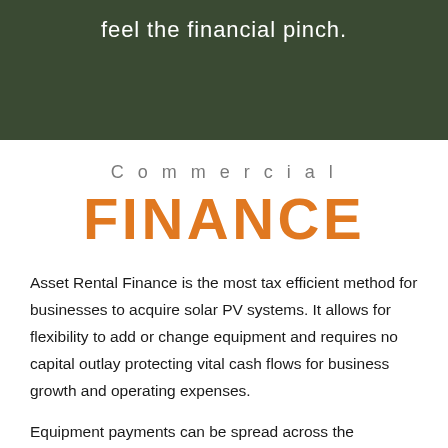feel the financial pinch.
Commercial
FINANCE
Asset Rental Finance is the most tax efficient method for businesses to acquire solar PV systems. It allows for flexibility to add or change equipment and requires no capital outlay protecting vital cash flows for business growth and operating expenses.
Equipment payments can be spread across the